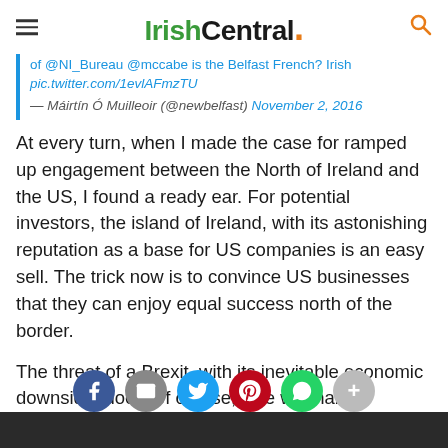IrishCentral.
of @NI_Bureau @mccabe is the Belfast French? Irish pic.twitter.com/1evlAFmzTU — Máirtín Ó Muilleoir (@newbelfast) November 2, 2016
At every turn, when I made the case for ramped up engagement between the North of Ireland and the US, I found a ready ear. For potential investors, the island of Ireland, with its astonishing reputation as a base for US companies is an easy sell. The trick now is to convince US businesses that they can enjoy equal success north of the border.
The threat of a Brexit, with its inevitable economic downside, does, of course, give wannabe investors cause for pause. However, I also found strong determination among Irish Americans to defend the mandate of the people of the North